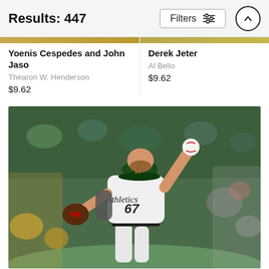Results: 447
Yoenis Cespedes and John Jaso
Thearon W. Henderson
$9.62
Derek Jeter
Al Bello
$9.62
[Figure (photo): Oakland Athletics pitcher number 67 in white Athletics uniform throwing a pitch, crowd visible in background, outdoor baseball stadium]